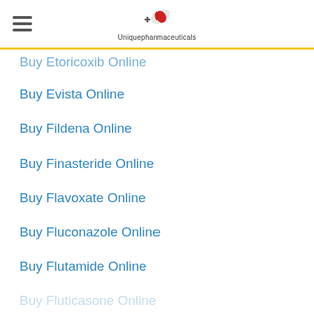Uniquepharmaceuticals
Buy Etoricoxib Online
Buy Evista Online
Buy Fildena Online
Buy Finasteride Online
Buy Flavoxate Online
Buy Fluconazole Online
Buy Flutamide Online
Buy Fluticasone Online